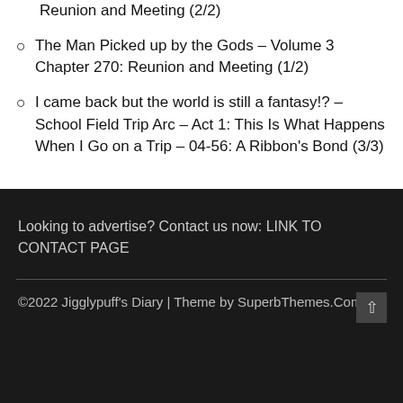Reunion and Meeting (2/2)
The Man Picked up by the Gods – Volume 3 Chapter 270: Reunion and Meeting (1/2)
I came back but the world is still a fantasy!? – School Field Trip Arc – Act 1: This Is What Happens When I Go on a Trip – 04-56: A Ribbon's Bond (3/3)
Looking to advertise? Contact us now: LINK TO CONTACT PAGE
©2022 Jigglypuff's Diary | Theme by SuperbThemes.Com